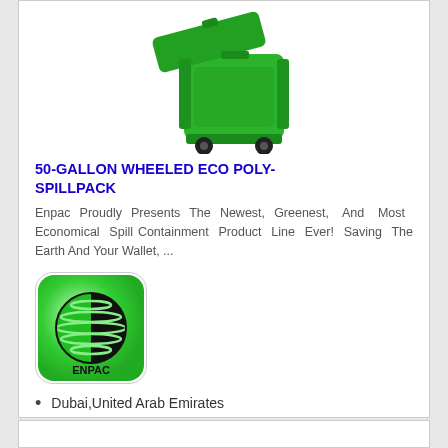[Figure (photo): Green wheeled eco poly-spillpack bin with open lid, viewed from front-left angle]
50-GALLON WHEELED ECO POLY-SPILLPACK
Enpac Proudly Presents The Newest, Greenest, And Most Economical Spill Containment Product Line Ever! Saving The Earth And Your Wallet, ...
[Figure (logo): ENPAC logo: green rounded square with black and green globe/sphere design and ENPAC text below]
Dubai,United Arab Emirates
[Figure (other): Get Quote button with envelope icon, gold/amber gradient background]